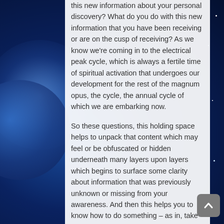this new information about your personal discovery? What do you do with this new information that you have been receiving or are on the cusp of receiving? As we know we're coming in to the electrical peak cycle, which is always a fertile time of spiritual activation that undergoes our development for the rest of the magnum opus, the cycle, the annual cycle of which we are embarking now.
So these questions, this holding space helps to unpack that content which may feel or be obfuscated or hidden underneath many layers upon layers which begins to surface some clarity about information that was previously unknown or missing from your awareness. And then this helps you to know how to do something – as in, take in information and then begin to know how to take action or non-action upon it. Sometimes just an awareness of something in conscious participation